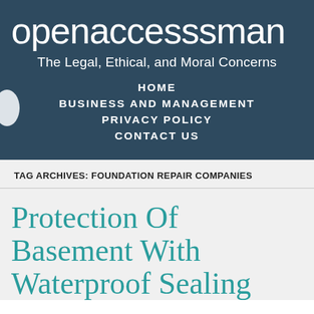openaccessman
The Legal, Ethical, and Moral Concerns
HOME
BUSINESS AND MANAGEMENT
PRIVACY POLICY
CONTACT US
TAG ARCHIVES: FOUNDATION REPAIR COMPANIES
Protection Of Basement With Waterproof Sealing